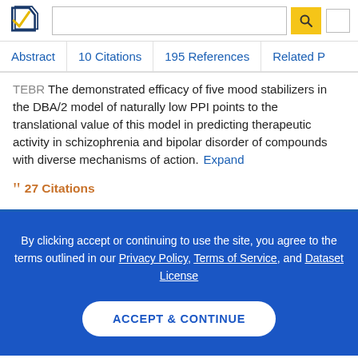Semantic Scholar – search interface header with logo, search box, and navigation tabs: Abstract, 10 Citations, 195 References, Related P...
TEBR The demonstrated efficacy of five mood stabilizers in the DBA/2 model of naturally low PPI points to the translational value of this model in predicting therapeutic activity in schizophrenia and bipolar disorder of compounds with diverse mechanisms of action.
27 Citations
By clicking accept or continuing to use the site, you agree to the terms outlined in our Privacy Policy, Terms of Service, and Dataset License
ACCEPT & CONTINUE